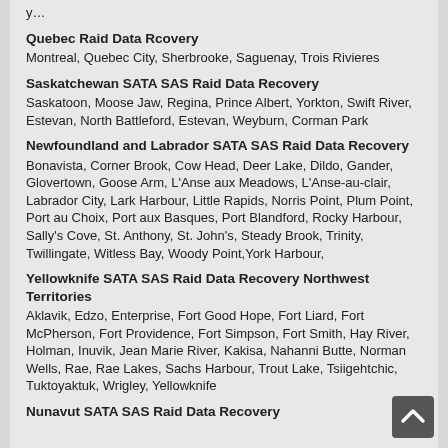y ... (partial, cut off at top)
Quebec Raid Data Rcovery
Montreal, Quebec City, Sherbrooke, Saguenay, Trois Rivieres
Saskatchewan SATA SAS Raid Data Recovery
Saskatoon, Moose Jaw, Regina, Prince Albert, Yorkton, Swift River, Estevan, North Battleford, Estevan, Weyburn, Corman Park
Newfoundland and Labrador SATA SAS Raid Data Recovery
Bonavista, Corner Brook, Cow Head, Deer Lake, Dildo, Gander, Glovertown, Goose Arm, L'Anse aux Meadows, L'Anse-au-clair, Labrador City, Lark Harbour, Little Rapids, Norris Point, Plum Point, Port au Choix, Port aux Basques, Port Blandford, Rocky Harbour, Sally's Cove, St. Anthony, St. John's, Steady Brook, Trinity, Twillingate, Witless Bay, Woody Point,York Harbour,
Yellowknife SATA SAS Raid Data Recovery Northwest Territories
Aklavik, Edzo, Enterprise, Fort Good Hope, Fort Liard, Fort McPherson, Fort Providence, Fort Simpson, Fort Smith, Hay River, Holman, Inuvik, Jean Marie River, Kakisa, Nahanni Butte, Norman Wells, Rae, Rae Lakes, Sachs Harbour, Trout Lake, Tsiigehtchic, Tuktoyaktuk, Wrigley, Yellowknife
Nunavut SATA SAS Raid Data Recovery